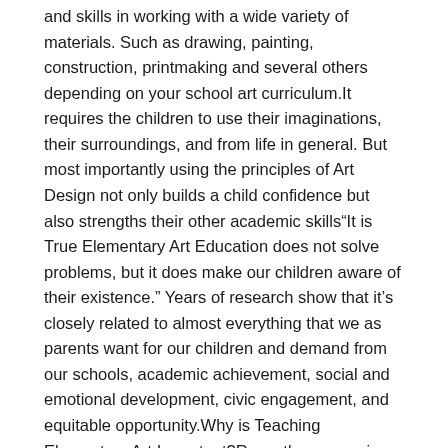and skills in working with a wide variety of materials. Such as drawing, painting, construction, printmaking and several others depending on your school art curriculum.It requires the children to use their imaginations, their surroundings, and from life in general. But most importantly using the principles of Art Design not only builds a child confidence but also strengths their other academic skills"It is True Elementary Art Education does not solve problems, but it does make our children aware of their existence." Years of research show that it's closely related to almost everything that we as parents want for our children and demand from our schools, academic achievement, social and emotional development, civic engagement, and equitable opportunity.Why is Teaching Elementary Art Important?Recently, economic and social pressures have considerably impacted Elementary Art Education. In many cases, this has resulted in severely reduced budgets that cuts the Art Education Programs too many times, art is not considered to be part of the curriculum and is taught only at the discretion of the classroom teacher. This needs to change, Teaching Elementary Art is crucial in the overall development of a